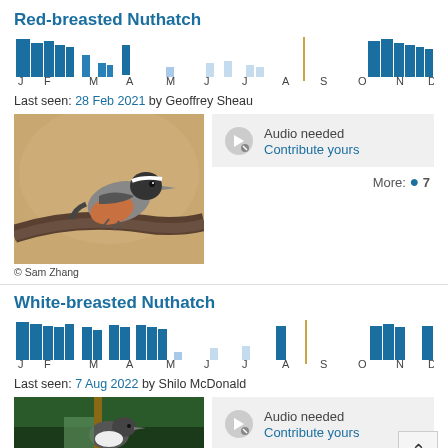Red-breasted Nuthatch
[Figure (bar-chart): Monthly sightings - Red-breasted Nuthatch]
Last seen: 28 Feb 2021 by Geoffrey Sheau
[Figure (photo): Red-breasted Nuthatch bird on branch, © Sam Zhang]
Audio needed Contribute yours
More: 7
© Sam Zhang
White-breasted Nuthatch
[Figure (bar-chart): Monthly sightings - White-breasted Nuthatch]
Last seen: 7 Aug 2022 by Shilo McDonald
[Figure (photo): White-breasted Nuthatch bird photo]
Audio needed Contribute yours